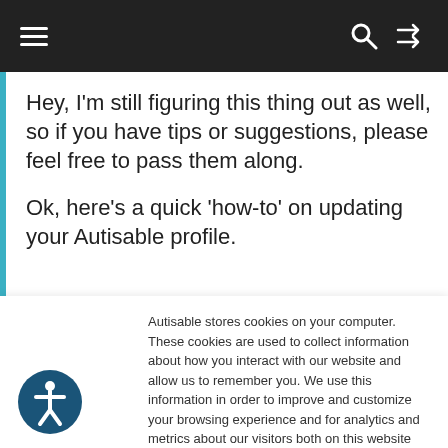Navigation bar with hamburger menu, search icon, and shuffle icon
Hey, I'm still figuring this thing out as well, so if you have tips or suggestions, please feel free to pass them along.
Ok, here's a quick 'how-to' on updating your Autisable profile.
Autisable stores cookies on your computer. These cookies are used to collect information about how you interact with our website and allow us to remember you. We use this information in order to improve and customize your browsing experience and for analytics and metrics about our visitors both on this website and other media. To find out more about the cookies we use, see our Privacy Policy.
To find out more about the cookies we use, see our Terms of Use.